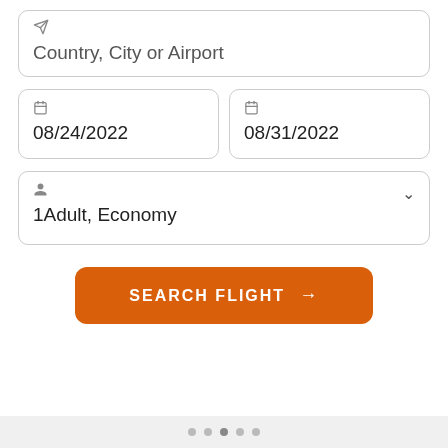[Figure (screenshot): Flight search form UI with input fields for destination, departure date (08/24/2022), return date (08/31/2022), passenger/class (1Adult, Economy), and a Search Flight button]
Country, City or Airport
08/24/2022
08/31/2022
1Adult, Economy
SEARCH FLIGHT →